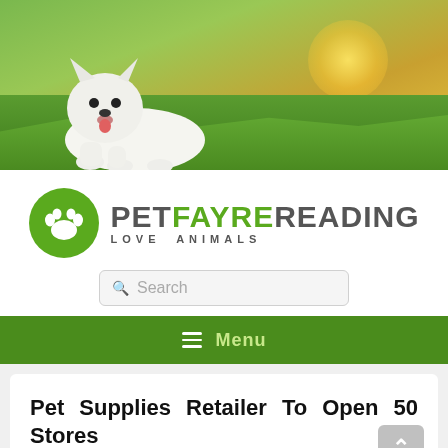[Figure (photo): White fluffy West Highland Terrier dog lying on grass with warm golden sunlight in the background, serving as a website hero banner image]
[Figure (logo): Pet Fayre Reading logo with green circular paw print icon and brand name 'PETFAYRE READING' with tagline 'LOVE ANIMALS']
Pet Supplies Retailer To Open 50 Stores
Posted on December 10, 2005 by Kenisha C. Kiner — No Comments